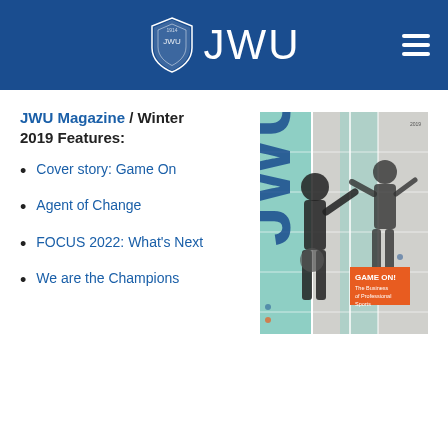JWU
JWU Magazine / Winter 2019 Features:
Cover story: Game On
Agent of Change
FOCUS 2022: What's Next
We are the Champions
[Figure (photo): JWU Magazine Winter 2019 cover featuring athletes collage with orange and teal design elements and text 'Game On']